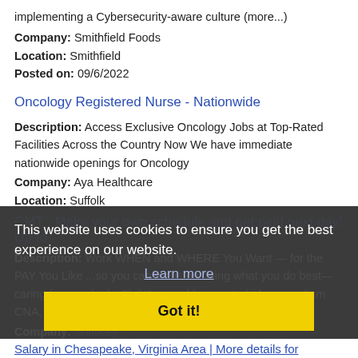implementing a Cybersecurity-aware culture (more...)
Company: Smithfield Foods
Location: Smithfield
Posted on: 09/6/2022
Oncology Registered Nurse - Nationwide
Description: Access Exclusive Oncology Jobs at Top-Rated Facilities Across the Country Now We have immediate nationwide openings for Oncology
Company: Aya Healthcare
Location: Suffolk
Posted on: 09/6/2022
CMT : Make your own schedule and get paid next day! Up to
Description: Work WHEN and WHERE You Want — for the PAY You Like ...so you can focus on doing what you do best— caring for people. br ShiftKey enables you to bid on per diem CNA, LPN/LVN, RN and other shifts (more...)
Company: ShiftKey
Location: Carrollton
Posted on: 09/6/2022
This website uses cookies to ensure you get the best experience on our website.
Learn more
Got it!
Salary in Chesapeake, Virginia Area | More details for